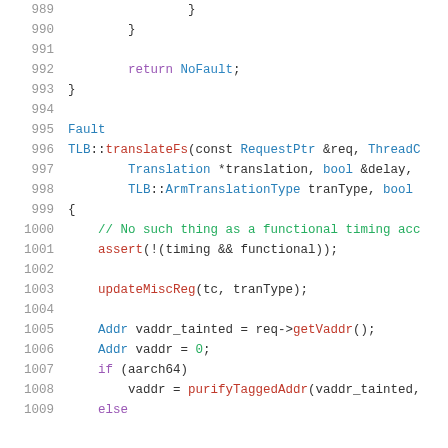Source code listing, lines 989-1009, C++ TLB::translateFs function